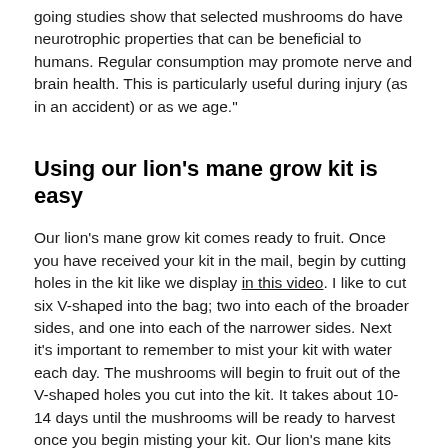going studies show that selected mushrooms do have neurotrophic properties that can be beneficial to humans. Regular consumption may promote nerve and brain health. This is particularly useful during injury (as in an accident) or as we age."
Using our lion's mane grow kit is easy
Our lion's mane grow kit comes ready to fruit. Once you have received your kit in the mail, begin by cutting holes in the kit like we display in this video. I like to cut six V-shaped into the bag; two into each of the broader sides, and one into each of the narrower sides. Next it's important to remember to mist your kit with water each day. The mushrooms will begin to fruit out of the V-shaped holes you cut into the kit. It takes about 10-14 days until the mushrooms will be ready to harvest once you begin misting your kit. Our lion's mane kits fruit three to five times over the course of two months,